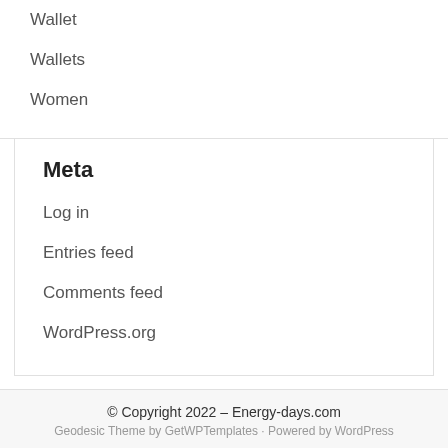Wallet
Wallets
Women
Meta
Log in
Entries feed
Comments feed
WordPress.org
© Copyright 2022 – Energy-days.com
Geodesic Theme by GetWPTemplates · Powered by WordPress